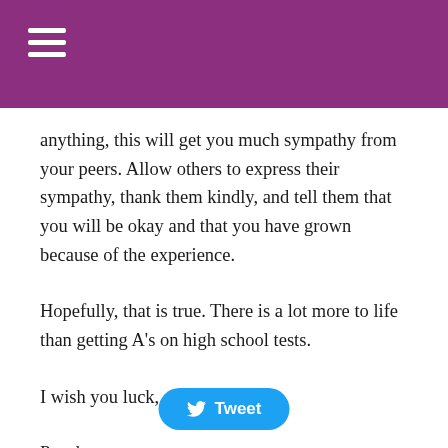anything, this will get you much sympathy from your peers. Allow others to express their sympathy, thank them kindly, and tell them that you will be okay and that you have grown because of the experience.
Hopefully, that is true. There is a lot more to life than getting A's on high school tests.
I wish you luck,
Papabear
[Figure (other): Tweet button with Twitter bird icon]